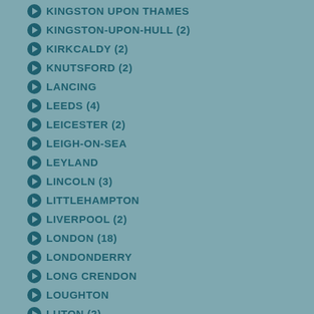KINGSTON UPON THAMES
KINGSTON-UPON-HULL (2)
KIRKCALDY (2)
KNUTSFORD (2)
LANCING
LEEDS (4)
LEICESTER (2)
LEIGH-ON-SEA
LEYLAND
LINCOLN (3)
LITTLEHAMPTON
LIVERPOOL (2)
LONDON (18)
LONDONDERRY
LONG CRENDON
LOUGHTON
LUTON (2)